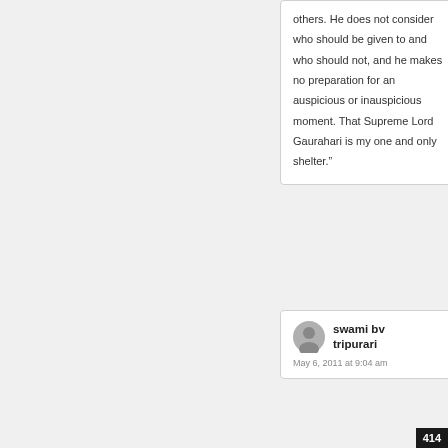others. He does not consider who should be given to and who should not, and he makes no preparation for an auspicious or inauspicious moment. That Supreme Lord Gaurahari is my one and only shelter.”
swami bv tripurari
May 6, 2011 at 9:04 am
414